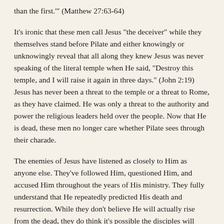than the first.'" (Matthew 27:63-64)
It's ironic that these men call Jesus "the deceiver" while they themselves stand before Pilate and either knowingly or unknowingly reveal that all along they knew Jesus was never speaking of the literal temple when He said, "Destroy this temple, and I will raise it again in three days." (John 2:19) Jesus has never been a threat to the temple or a threat to Rome, as they have claimed. He was only a threat to the authority and power the religious leaders held over the people. Now that He is dead, these men no longer care whether Pilate sees through their charade.
The enemies of Jesus have listened as closely to Him as anyone else. They've followed Him, questioned Him, and accused Him throughout the years of His ministry. They fully understand that He repeatedly predicted His death and resurrection. While they don't believe He will actually rise from the dead, they do think it's possible the disciples will come secretly and remove the body in order to claim Jesus has risen. Right now these men have only one goal in their lives: to keep the body of Jesus in the tomb. It's an impossible goal, for no power on earth or in hell is going to be able to keep Jesus in that tomb!